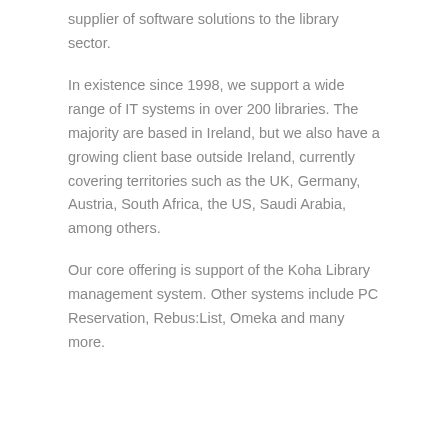supplier of software solutions to the library sector.
In existence since 1998, we support a wide range of IT systems in over 200 libraries. The majority are based in Ireland, but we also have a growing client base outside Ireland, currently covering territories such as the UK, Germany, Austria, South Africa, the US, Saudi Arabia, among others.
Our core offering is support of the Koha Library management system. Other systems include PC Reservation, Rebus:List, Omeka and many more.